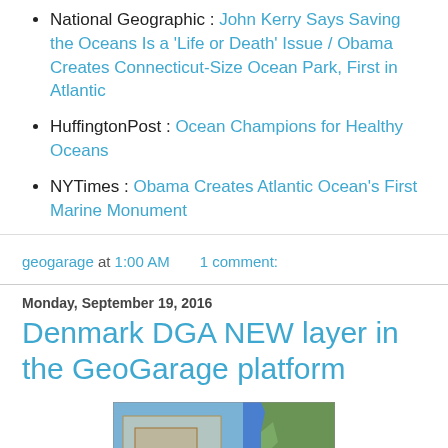National Geographic : John Kerry Says Saving the Oceans Is a 'Life or Death' Issue / Obama Creates Connecticut-Size Ocean Park, First in Atlantic
HuffingtonPost : Ocean Champions for Healthy Oceans
NYTimes : Obama Creates Atlantic Ocean's First Marine Monument
geogarage at 1:00 AM    1 comment:
Monday, September 19, 2016
Denmark DGA NEW layer in the GeoGarage platform
[Figure (map): Satellite map showing Denmark coastline and surrounding ocean with overlaid chart/navigational layer rectangles]